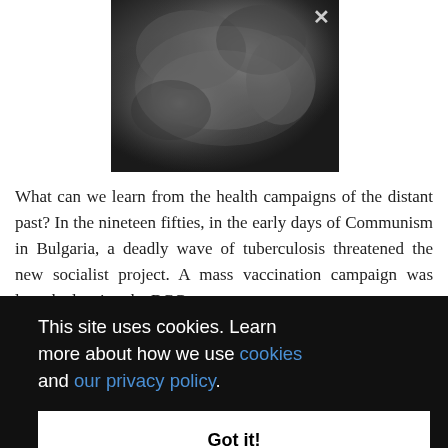[Figure (photo): Black and white close-up photograph, grainy and dark, with an X button in the top right corner]
What can we learn from the health campaigns of the distant past? In the nineteen fifties, in the early days of Communism in Bulgaria, a deadly wave of tuberculosis threatened the new socialist project. A mass vaccination campaign was launched, using the BCG vaccine
This site uses cookies. Learn more about how we use cookies and our privacy policy.
Got it!